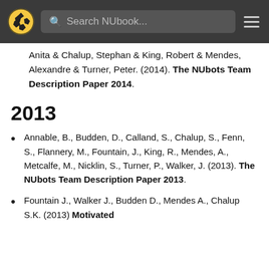Search NUbook...
Anita & Chalup, Stephan & King, Robert & Mendes, Alexandre & Turner, Peter. (2014). The NUbots Team Description Paper 2014.
2013
Annable, B., Budden, D., Calland, S., Chalup, S., Fenn, S., Flannery, M., Fountain, J., King, R., Mendes, A., Metcalfe, M., Nicklin, S., Turner, P., Walker, J. (2013). The NUbots Team Description Paper 2013.
Fountain J., Walker J., Budden D., Mendes A., Chalup S.K. (2013) Motivated